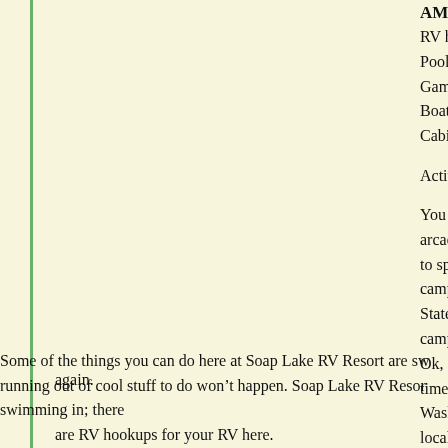AMENITIES:
RV hookups ar...
Pool
Game Room
Boating
Cabins
Activities: arca...
You can play s... arcade; playing... to spend some... campground so... State Park. Soa... campground by... Ok, enough of... time has come... Washington is... local attraction... without doubt ...
again.
Some of the things you can do here at Soap Lake RV Resort are sw... running out of cool stuff to do won't happen. Soap Lake RV Resor... swimming in; there
are RV hookups for your RV here.